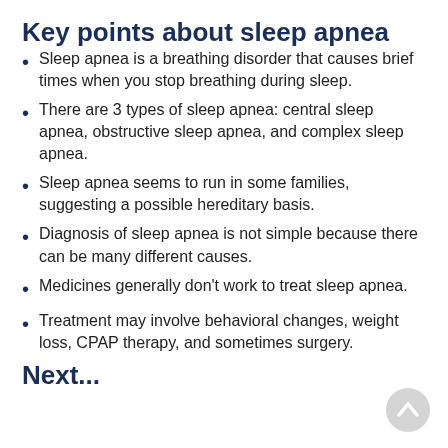Key points about sleep apnea
Sleep apnea is a breathing disorder that causes brief times when you stop breathing during sleep.
There are 3 types of sleep apnea: central sleep apnea, obstructive sleep apnea, and complex sleep apnea.
Sleep apnea seems to run in some families, suggesting a possible hereditary basis.
Diagnosis of sleep apnea is not simple because there can be many different causes.
Medicines generally don't work to treat sleep apnea.
Treatment may involve behavioral changes, weight loss, CPAP therapy, and sometimes surgery.
Next...